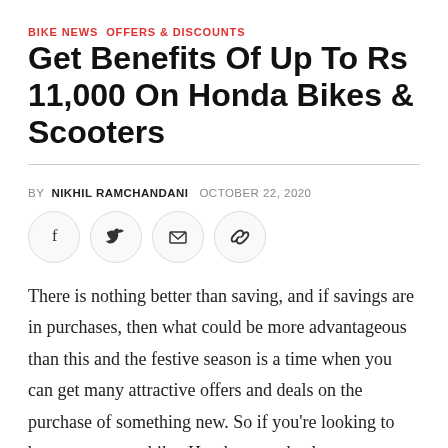BIKE NEWS  OFFERS & DISCOUNTS
Get Benefits Of Up To Rs 11,000 On Honda Bikes & Scooters
BY NIKHIL RAMCHANDANI   OCTOBER 22, 2020
[Figure (other): Social share buttons: Facebook, Twitter, Email, Link]
There is nothing better than saving, and if savings are in purchases, then what could be more advantageous than this and the festive season is a time when you can get many attractive offers and deals on the purchase of something new. So if you're looking to buy a scooter or bike, Honda two-wheelers are offering 6 Super offers on